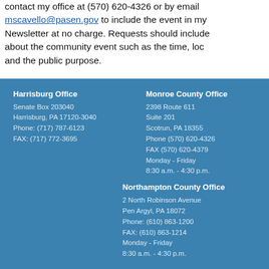contact my office at (570) 620-4326 or by email mscavello@pasen.gov to include the event in my Newsletter at no charge. Requests should include about the community event such as the time, loc and the public purpose.
Harrisburg Office
Senate Box 203040
Harrisburg, PA 17120-3040
Phone: (717) 787-6123
FAX: (717) 772-3695
Monroe County Office
2398 Route 611
Suite 201
Scotrun, PA 18355
Phone (570) 620-4326
FAX (570) 620-4379
Monday - Friday
8:30 a.m. - 4:30 p.m.
Northampton County Office
2 North Robinson Avenue
Pen Argyl, PA 18072
Phone: (610) 863-1200
FAX: (610) 863-1214
Monday - Friday
8:30 a.m. - 4:30 p.m.